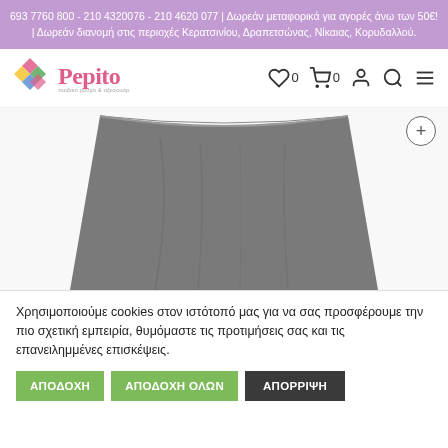693 7760 800 - 210 4320076 - 210 4620 077 | Δωρεάν μεταφορικά για αγορές άνω των 50€! | Δωρεάν διανομή στις περιοχές Κερατσινίου, Δραπετσώνας, Νίκαιας, Κορυδαλλού.
[Figure (logo): Pepito children's clothing store logo with colorful diamond shapes]
[Figure (photo): A grey A-line skirt photographed on white background, showing the waistband and flared skirt body]
Χρησιμοποιούμε cookies στον ιστότοπό μας για να σας προσφέρουμε την πιο σχετική εμπειρία, θυμόμαστε τις προτιμήσεις σας και τις επανειλημμένες επισκέψεις.
ΑΠΟΔΟΧΗ | ΑΠΟΔΟΧΗ ΟΛΩΝ | ΑΠΟΡΡΙΨΗ